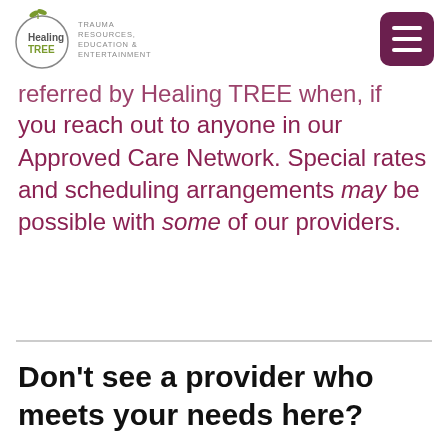Healing TREE - TRAUMA RESOURCES, EDUCATION & ENTERTAINMENT
referred by Healing TREE when, if you reach out to anyone in our Approved Care Network. Special rates and scheduling arrangements may be possible with some of our providers.
Don't see a provider who meets your needs here?